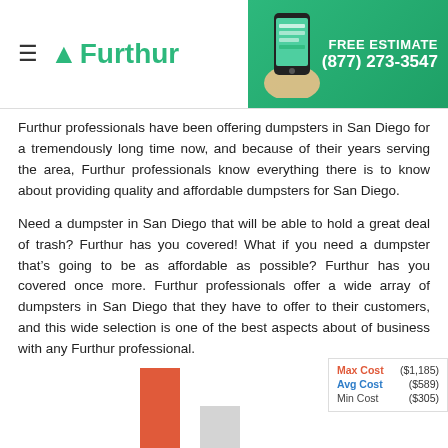Furthur — FREE ESTIMATE (877) 273-3547
Furthur professionals have been offering dumpsters in San Diego for a tremendously long time now, and because of their years serving the area, Furthur professionals know everything there is to know about providing quality and affordable dumpsters for San Diego.
Need a dumpster in San Diego that will be able to hold a great deal of trash? Furthur has you covered! What if you need a dumpster that's going to be as affordable as possible? Furthur has you covered once more. Furthur professionals offer a wide array of dumpsters in San Diego that they have to offer to their customers, and this wide selection is one of the best aspects about of business with any Furthur professional.
2016 Average Costs For Dumpsters
[Figure (bar-chart): 2016 Average Costs For Dumpsters]